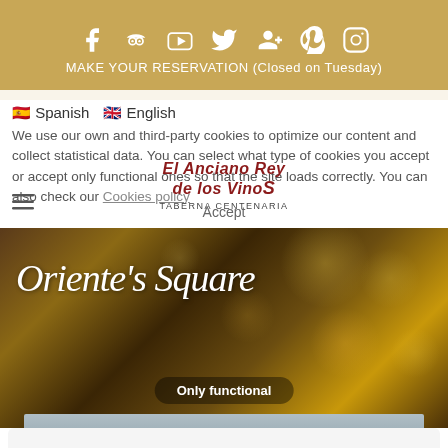Social media icons bar
MAKE YOUR RESERVATION (Closed on Tuesday)
We use our own and third-party cookies to optimize our content and collect statistical data. You can select what type of cookies you accept or accept only functional ones so that the site loads correctly. You can also check our Cookies policy
[Figure (logo): El Anciano Rey de los Vinos - Taberna Centenaria logo with red italic text]
Spanish   English
[Figure (photo): Oriente's Square - hero image with bokeh bokeh lights in dark warm tones with cursive script text overlay]
Only functional
See preferences